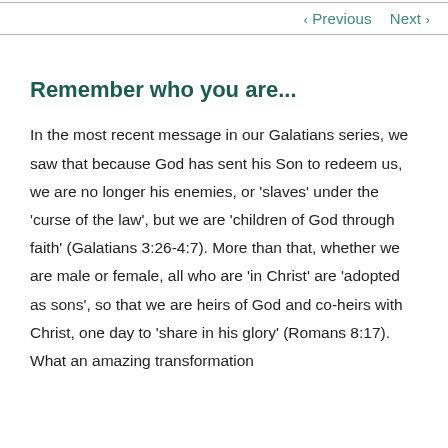< Previous   Next >
Remember who you are...
In the most recent message in our Galatians series, we saw that because God has sent his Son to redeem us, we are no longer his enemies, or 'slaves' under the 'curse of the law', but we are 'children of God through faith' (Galatians 3:26-4:7). More than that, whether we are male or female, all who are 'in Christ' are 'adopted as sons', so that we are heirs of God and co-heirs with Christ, one day to 'share in his glory' (Romans 8:17). What an amazing transformation